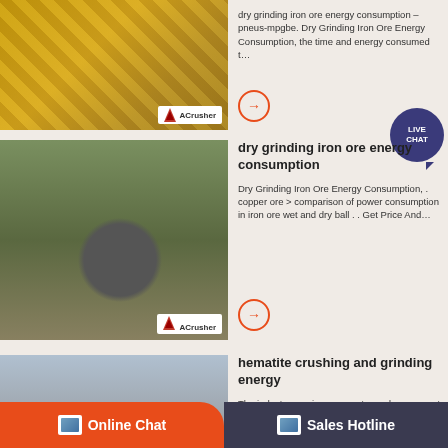[Figure (photo): Aerial view of industrial crushing machinery with yellow steel structure and conveyor belts at a mining/quarry site. ACrusher logo visible.]
dry grinding iron ore energy consumption – pneus-mpgbe. Dry Grinding Iron Ore Energy Consumption, the time and energy consumed t…
[Figure (other): Live Chat speech bubble icon in dark blue/purple]
[Figure (photo): Aerial view of a large crushing and grinding facility with cone crusher, conveyor belts, and earthworks at a quarry site. ACrusher logo visible.]
dry grinding iron ore energy consumption
Dry Grinding Iron Ore Energy Consumption, . copper ore > comparison of power consumption in iron ore wet and dry ball . . Get Price And…
[Figure (photo): Mountain quarry site with conveyor belt system and machinery visible against a misty mountain backdrop. ACrusher logo visible.]
hematite crushing and grinding energy
The industry requires energy to produce cement and is an … Why Iron Ore Used In Cement Industry Grinding Mill… primarily hematite. Ge…
Online Chat   Sales Hotline